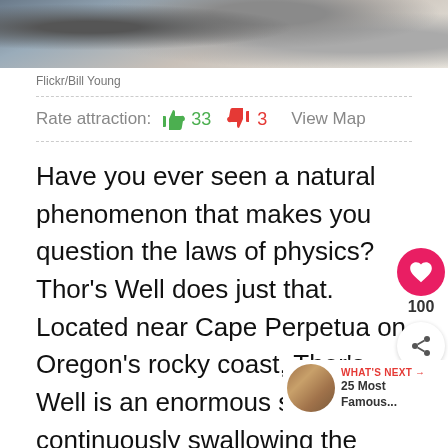[Figure (photo): Partial view of rocky coastline with waves and foam, cropped at bottom of image]
Flickr/Bill Young
Rate attraction:  👍 33  👎 3  View Map
Have you ever seen a natural phenomenon that makes you question the laws of physics? Thor's Well does just that. Located near Cape Perpetua on Oregon's rocky coast, Thor's Well is an enormous sinkhole continuously swallowing the water around
The seemingly bottomless hole apr drain water from the ocean, giving visitors a mysterious, mystical experience. Thor's Well